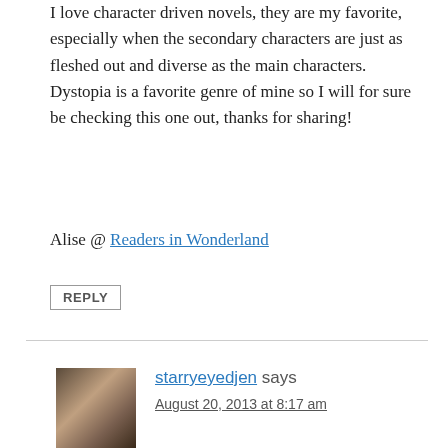I love character driven novels, they are my favorite, especially when the secondary characters are just as fleshed out and diverse as the main characters. Dystopia is a favorite genre of mine so I will for sure be checking this one out, thanks for sharing!
Alise @ Readers in Wonderland
REPLY
starryeyedjen says
August 20, 2013 at 8:17 am
I just got an ARC of this one! (I already had a galley, but I actually won a Goodreads giveaway, yay!) I love gritty books, and character driven stories. It sounds like I’ll love this one the way I loved Blood Red Road. Which excites me to no end because I really,